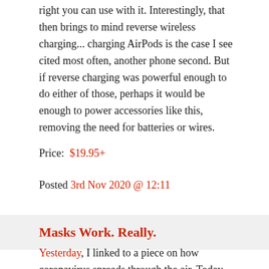right you can use with it. Interestingly, that then brings to mind reverse wireless charging... charging AirPods is the case I see cited most often, another phone second. But if reverse charging was powerful enough to do either of those, perhaps it would be enough to power accessories like this, removing the need for batteries or wires.
Price:  $19.95+
Posted 3rd Nov 2020 @ 12:11
Masks Work. Really.
Yesterday, I linked to a piece on how coronavirus spreads through the air. Today,